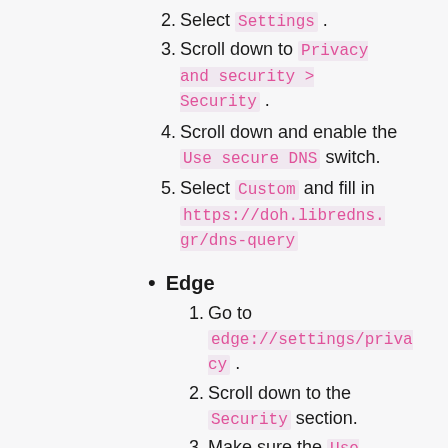2. Select Settings .
3. Scroll down to Privacy and security > Security .
4. Scroll down and enable the Use secure DNS switch.
5. Select Custom and fill in https://doh.libredns.gr/dns-query
Edge
1. Go to edge://settings/privacy .
2. Scroll down to the Security section.
3. Make sure the Use secure DNS option is enabled.